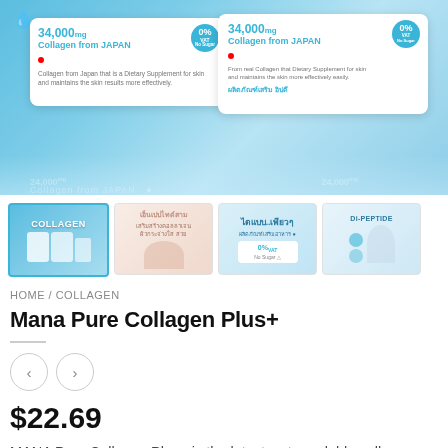[Figure (photo): Product hero image showing Mana Pure Collagen Plus+ boxes on a blue background with water droplets. Two white product boxes displayed prominently with '34,000mg Collagen from JAPAN' and '0% VAT No Sugar' badges visible.]
[Figure (photo): Thumbnail row with 4 images: (1) Collagen product boxes in blue packaging, (2) woman's hands, (3) Thai text product info with '0%' badge, (4) Di-Peptide product with woman model.]
HOME / COLLAGEN
Mana Pure Collagen Plus+
$22.69
MANA Pure Collagen Plus+ is the latest water-soluble collagen powder that enhances Elastin. It is the Collagen